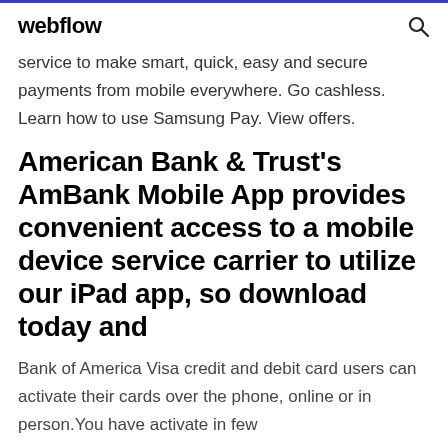webflow
service to make smart, quick, easy and secure payments from mobile everywhere. Go cashless. Learn how to use Samsung Pay. View offers.
American Bank & Trust's AmBank Mobile App provides convenient access to a mobile device service carrier to utilize our iPad app, so download today and
Bank of America Visa credit and debit card users can activate their cards over the phone, online or in person.You have activate in few